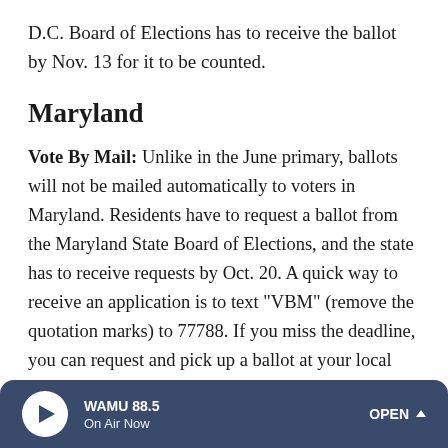D.C. Board of Elections has to receive the ballot by Nov. 13 for it to be counted.
Maryland
Vote By Mail: Unlike in the June primary, ballots will not be mailed automatically to voters in Maryland. Residents have to request a ballot from the Maryland State Board of Elections, and the state has to receive requests by Oct. 20. A quick way to receive an application is to text "VBM" (remove the quotation marks) to 77788. If you miss the deadline, you can request and pick up a ballot at your local board of elections office. When you get your mail-in ballot, vote as soon as possible. Ballots must be postmarked on or
WAMU 88.5 On Air Now OPEN